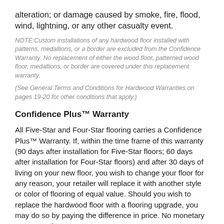alteration; or damage caused by smoke, fire, flood, wind, lightning, or any other casualty event.
NOTE:Custom installations of any hardwood floor installed with patterns, medallions, or a border are excluded from the Confidence Warranty. No replacement of either the wood floor, patterned wood floor, medallions, or border are covered under this replacement warranty.
(See General Terms and Conditions for Hardwood Warranties on pages 19-20 for other conditions that apply.)
Confidence Plus™ Warranty
All Five-Star and Four-Star flooring carries a Confidence Plus™ Warranty. If, within the time frame of this warranty (90 days after installation for Five-Star floors; 60 days after installation for Four-Star floors) and after 30 days of living on your new floor, you wish to change your floor for any reason, your retailer will replace it with another style or color of flooring of equal value. Should you wish to replace the hardwood floor with a flooring upgrade, you may do so by paying the difference in price. No monetary compensation